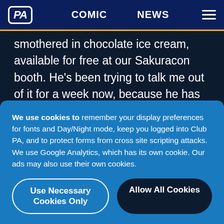PA | COMIC | NEWS
smothered in chocolate ice cream, available for free at our Sakuracon booth. He's been trying to talk me out of it for a week now, because he has no vision, and I do: I see waffles leaping out of toasters and into smiling mouths. I don't see what the fucking problem is.
We use cookies to remember your display preferences for fonts and Day/Night mode, keep you logged into Club PA, and to protect forms from cross site scripting attacks. We use Google Analytics, which has its own cookie. Our ads may also use their own cookies.